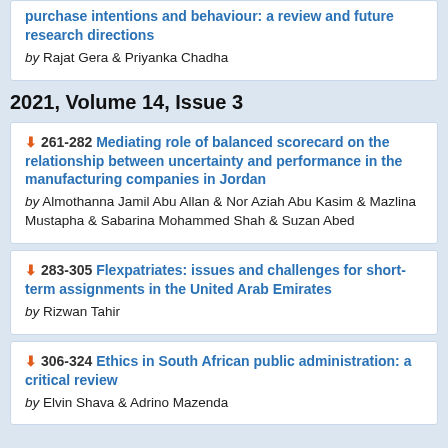purchase intentions and behaviour: a review and future research directions
by Rajat Gera & Priyanka Chadha
2021, Volume 14, Issue 3
261-282 Mediating role of balanced scorecard on the relationship between uncertainty and performance in the manufacturing companies in Jordan
by Almothanna Jamil Abu Allan & Nor Aziah Abu Kasim & Mazlina Mustapha & Sabarina Mohammed Shah & Suzan Abed
283-305 Flexpatriates: issues and challenges for short-term assignments in the United Arab Emirates
by Rizwan Tahir
306-324 Ethics in South African public administration: a critical review
by Elvin Shava & Adrino Mazenda